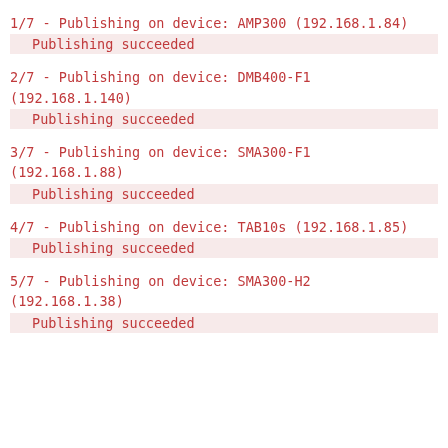1/7 - Publishing on device: AMP300 (192.168.1.84)
    Publishing succeeded
2/7 - Publishing on device: DMB400-F1 (192.168.1.140)
    Publishing succeeded
3/7 - Publishing on device: SMA300-F1 (192.168.1.88)
    Publishing succeeded
4/7 - Publishing on device: TAB10s (192.168.1.85)
    Publishing succeeded
5/7 - Publishing on device: SMA300-H2 (192.168.1.38)
    Publishing succeeded